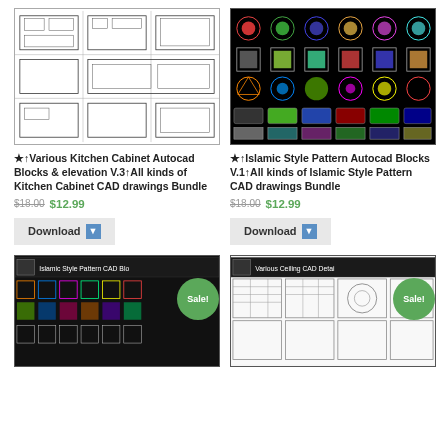[Figure (illustration): CAD blueprint kitchen cabinet floor plans and elevations]
[Figure (illustration): Islamic style pattern CAD blocks grid on black background]
★↑Various Kitchen Cabinet Autocad Blocks & elevation V.3↑All kinds of Kitchen Cabinet CAD drawings Bundle
★↑Islamic Style Pattern Autocad Blocks V.1↑All kinds of Islamic Style Pattern CAD drawings Bundle
$18.00 $12.99
$18.00 $12.99
Download
Download
[Figure (screenshot): Islamic Style Pattern CAD Blocks product thumbnail with Sale badge]
[Figure (screenshot): Various Ceiling CAD Details product thumbnail with Sale badge]